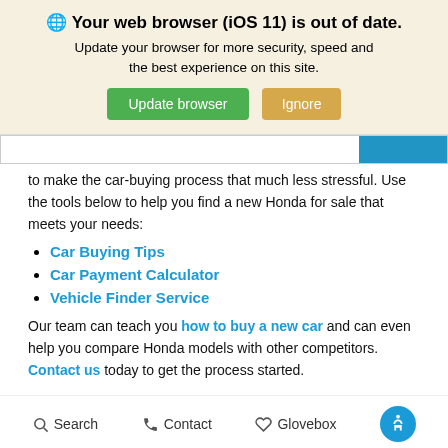[Figure (screenshot): Browser update notification banner with globe icon, bold heading 'Your web browser (iOS 11) is out of date.', subtitle text, and two buttons: green 'Update browser' and tan 'Ignore']
to make the car-buying process that much less stressful. Use the tools below to help you find a new Honda for sale that meets your needs:
Car Buying Tips
Car Payment Calculator
Vehicle Finder Service
Our team can teach you how to buy a new car and can even help you compare Honda models with other competitors. Contact us today to get the process started.
[Figure (screenshot): Dark navy footer band]
Search   Contact   Glovebox   [accessibility icon]